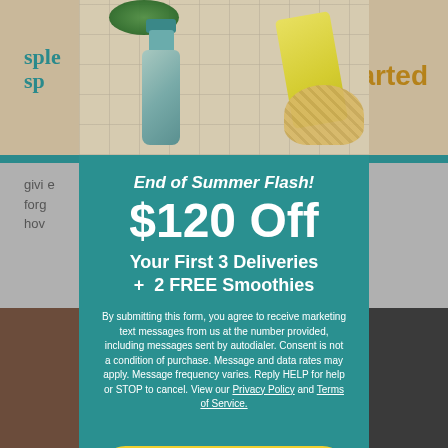[Figure (photo): Product photo showing a green/teal juice bottle, yellow tube/product, woven basket, and green leaves arranged on a tile surface]
End of Summer Flash!
$120 Off
Your First 3 Deliveries + 2 FREE Smoothies
By submitting this form, you agree to receive marketing text messages from us at the number provided, including messages sent by autodialer. Consent is not a condition of purchase. Message and data rates may apply. Message frequency varies. Reply HELP for help or STOP to cancel. View our Privacy Policy and Terms of Service.
Sign Up for Texts